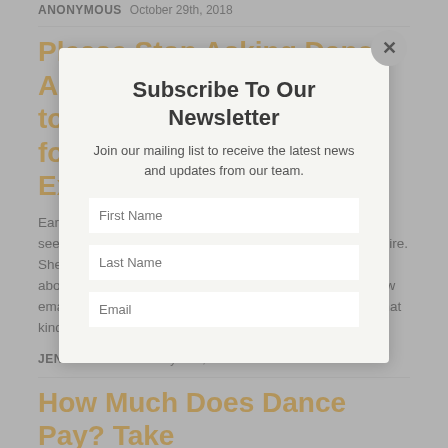ANONYMOUS  October 29th, 2018
Please Stop Asking Dance Artists to Perform "in Exchange for Exposure"
Earlier this week, a friend of a friend reached out to me seeking recommendations for a dancer/choreographer to hire. She wanted someone who could perform a solo and talk about their process for an arts-appreciation club. After a few emails back and forth, as I was trying to find out exactly what kind of choreographer [...]
JENNIFER STAHL  July 31st, 2018
How Much Does Dance Pay? Take
[Figure (screenshot): Newsletter subscription modal overlay with title 'Subscribe To Our Newsletter', subtitle 'Join our mailing list to receive the latest news and updates from our team.', and form fields for First Name, Last Name, and Email.]